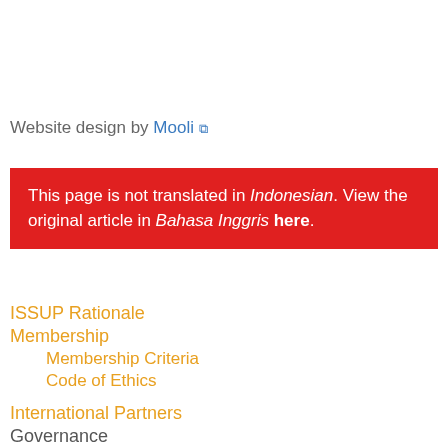Website design by Mooli ↗
This page is not translated in Indonesian. View the original article in Bahasa Inggris here.
ISSUP Rationale
Membership
Membership Criteria
Code of Ethics
International Partners
Governance
ISSUP Workshops